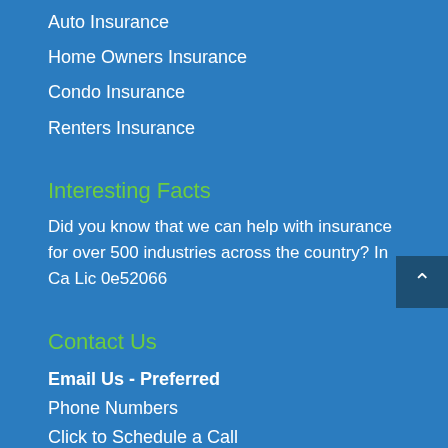Auto Insurance
Home Owners Insurance
Condo Insurance
Renters Insurance
Interesting Facts
Did you know that we can help with insurance for over 500 industries across the country? In Ca Lic 0e52066
Contact Us
Email Us - Preferred
Phone Numbers
Click to Schedule a Call